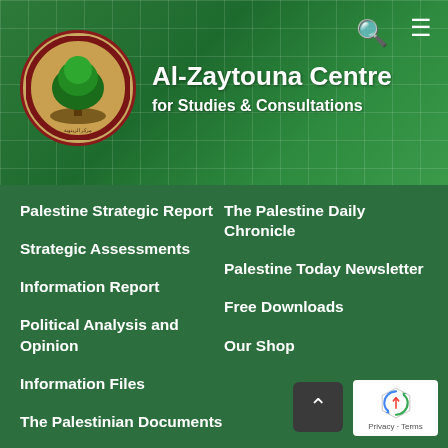[Figure (logo): Al-Zaytouna Centre for Studies and Consultations website header with logo (circular emblem with tree) and navigation menu icons]
Al-Zaytouna Centre
for Studies & Consultations
Palestine Strategic Report
The Palestine Daily Chronicle
Strategic Assessments
Palestine Today Newsletter
Information Report
Free Downloads
Political Analysis and Opinion
Our Shop
Information Files
The Palestinian Documents
Am I Not A Human?